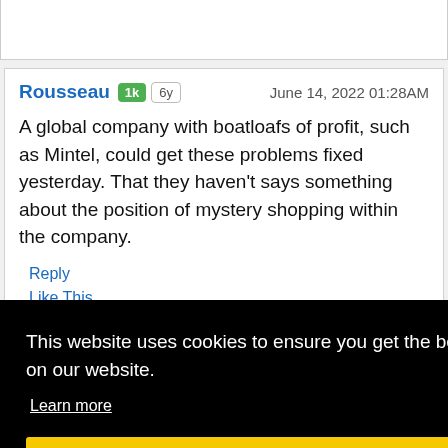Rousseau 1k 6y   June 14, 2022 01:28AM
A global company with boatloafs of profit, such as Mintel, could get these problems fixed yesterday. That they haven't says something about the position of mystery shopping within the company.
Reply
Like This
This website uses cookies to ensure you get the best experience on our website.
Learn more
Got it!